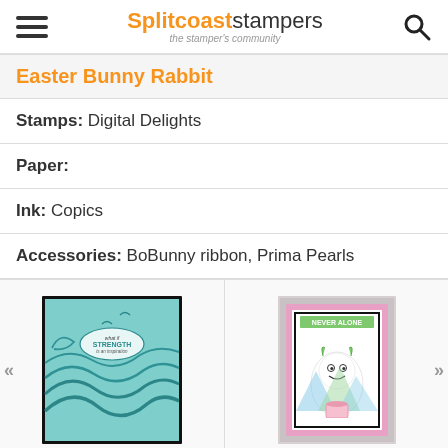Splitcoaststampers – the stamper's community
Easter Bunny Rabbit
Stamps: Digital Delights
Paper:
Ink: Copics
Accessories: BoBunny ribbon, Prima Pearls
[Figure (photo): Thumbnail of a stamped card with teal wave design and 'STRENGTH' sentiment]
[Figure (photo): Thumbnail of a stamped card with a monster/yeti character on a pink postage stamp style frame]